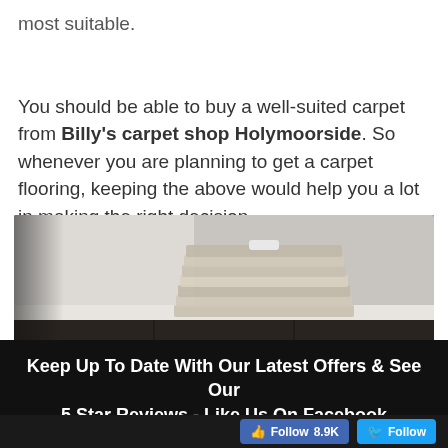most suitable.

You should be able to buy a well-suited carpet from Billy's carpet shop Holymoorside. So whenever you are planning to get a carpet flooring, keeping the above would help you a lot in making the right decision.
[Figure (photo): Photo of carpet flooring samples or a rolled carpet on a floor/staircase area, shown in dark tones]
Keep Up To Date With Our Latest Offers & See Our 5 Star Reviews - Like Us On Facebook
Follow 8.9K   Follow